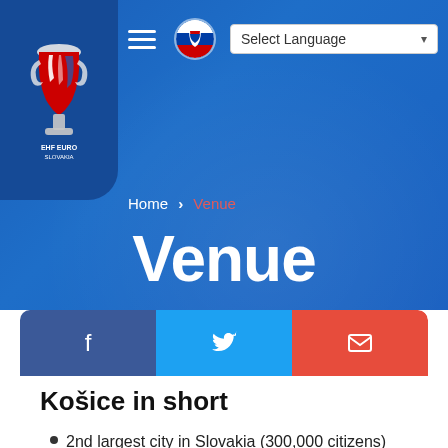[Figure (logo): EHF Euro 2021 Slovakia tournament logo on dark blue background]
Home > Venue — Select Language navigation bar
Venue
[Figure (infographic): Social share buttons: Facebook, Twitter, Email]
Košice in short
2nd largest city in Slovakia (300,000 citizens)
home of 3 universities (21,000 students)